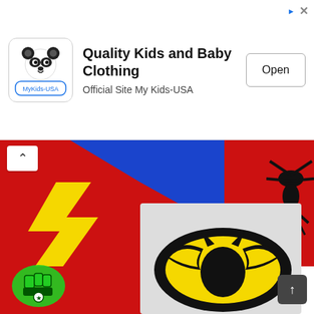[Figure (screenshot): Advertisement banner for Quality Kids and Baby Clothing - MyKids-USA with panda logo, Open button, and close/info icons]
[Figure (photo): Plastic canvas needlework pieces showing superhero logos: Superman (red/blue/yellow), Spider-Man (red/black), and Batman (gray/black/yellow) arranged overlapping]